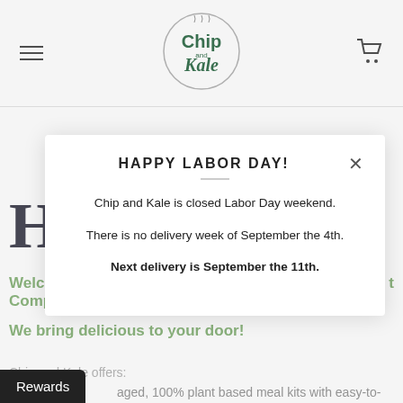[Figure (logo): Chip and Kale circular logo with green text]
HAPPY LABOR DAY!
Chip and Kale is closed Labor Day weekend.
There is no delivery week of September the 4th.
Next delivery is September the 11th.
Ho
Welcome ... t Company
We bring delicious to your door!
Chip and Kale offers:
aged, 100% plant based meal kits with easy-to-
Rewards